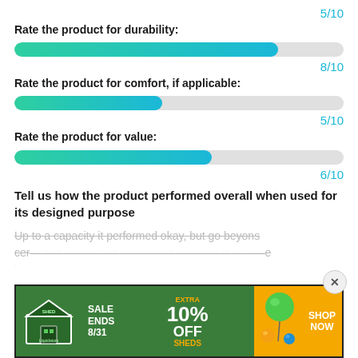5/10
Rate the product for durability:
[Figure (other): Horizontal progress bar filled ~80% with teal-to-cyan gradient]
8/10
Rate the product for comfort, if applicable:
[Figure (other): Horizontal progress bar filled ~45% with teal-to-cyan gradient]
5/10
Rate the product for value:
[Figure (other): Horizontal progress bar filled ~60% with teal-to-cyan gradient]
6/10
Tell us how the product performed overall when used for its designed purpose
Up to a capacity it performed okay, but go beyons cer... e to s...
[Figure (infographic): Advertisement banner: Shed liquidators sale ends 8/31, extra 10% off sheds, shop now]